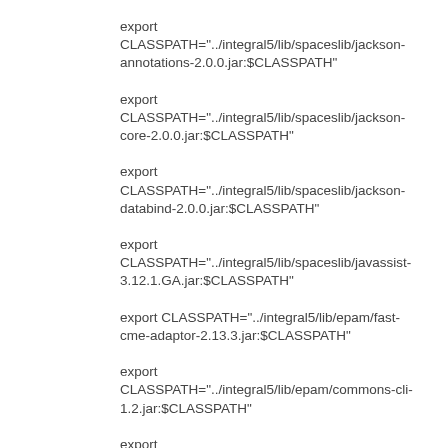export CLASSPATH="../integral5/lib/spaceslib/jackson-annotations-2.0.0.jar:$CLASSPATH"
export CLASSPATH="../integral5/lib/spaceslib/jackson-core-2.0.0.jar:$CLASSPATH"
export CLASSPATH="../integral5/lib/spaceslib/jackson-databind-2.0.0.jar:$CLASSPATH"
export CLASSPATH="../integral5/lib/spaceslib/javassist-3.12.1.GA.jar:$CLASSPATH"
export CLASSPATH="../integral5/lib/epam/fast-cme-adaptor-2.13.3.jar:$CLASSPATH"
export CLASSPATH="../integral5/lib/epam/commons-cli-1.2.jar:$CLASSPATH"
export CLASSPATH="../integral5/lib/epam/commons-